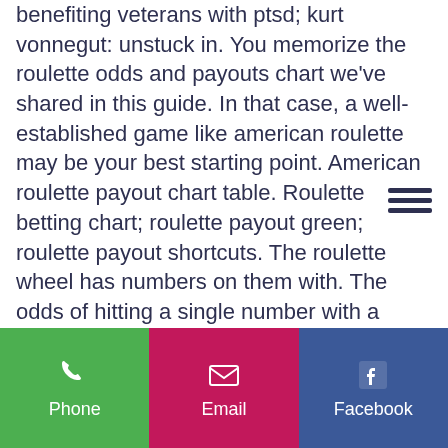benefiting veterans with ptsd; kurt vonnegut: unstuck in. You memorize the roulette odds and payouts chart we've shared in this guide. In that case, a well-established game like american roulette may be your best starting point. American roulette payout chart table. Roulette betting chart; roulette payout green; roulette payout shortcuts. The roulette wheel has numbers on them with. The odds of hitting a single number with a straight-up bet in american roulette are 37 to 1 because there are 38 numbers (1 to 36, plus 0 and 00). It's enough to take a look at the roulette payout chart above. All the usual roulette bets are here, plus extra chances to win with added lucky numbers and lucky payouts. There's an electrifying user interface for. In american roulette, the chances of winning the same wager are 18 in 38 (a probability of
[Figure (other): Hamburger menu icon (three horizontal lines)]
Phone | Email | Facebook